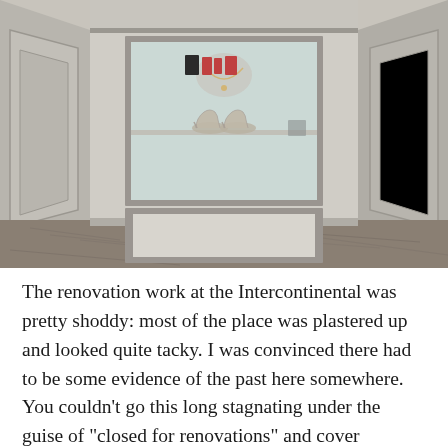[Figure (photo): Interior photo of a luxury closet or display alcove with paneled walls in grey/taupe tones. A glass display case is mounted on the back wall showing a mannequin bust with a necklace, a pair of high-heeled shoes on a shelf, and small cosmetic items. Below the display case is a rectangular framed panel. The floor has grey marble-patterned tiles. The side walls have decorative molding panels.]
The renovation work at the Intercontinental was pretty shoddy: most of the place was plastered up and looked quite tacky. I was convinced there had to be some evidence of the past here somewhere. You couldn't go this long stagnating under the guise of "closed for renovations" and cover everything up. I was sure they would have changed the room numbers to confuse would-be trophy